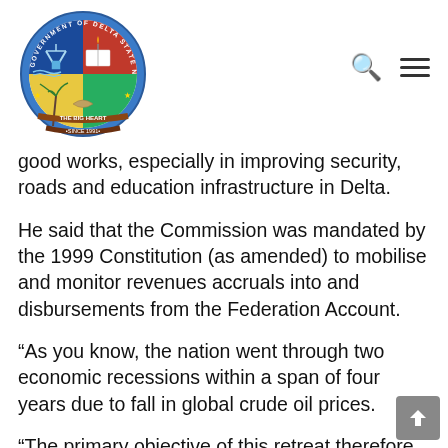[Figure (logo): Government of Delta State Nigeria circular seal/coat of arms logo with 'The Big Heart' and 'Since 1991' text]
good works, especially in improving security, roads and education infrastructure in Delta.
He said that the Commission was mandated by the 1999 Constitution (as amended) to mobilise and monitor revenues accruals into and disbursements from the Federation Account.
“As you know, the nation went through two economic recessions within a span of four years due to fall in global crude oil prices.
“The primary objective of this retreat therefore is to